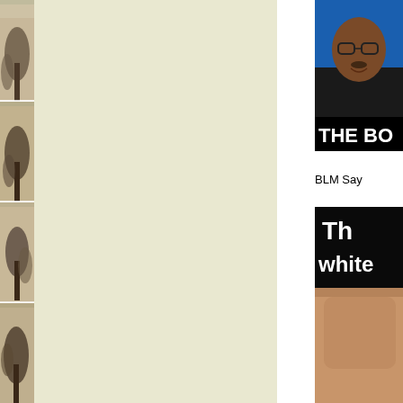[Figure (photo): Vertical strip of four repeated outdoor winter/nature scene photos on far left edge]
[Figure (photo): Cropped image of a man with glasses on blue background with text 'THE BO...' partially visible]
BLM Say
[Figure (photo): Meme image with white bold text on black background reading 'Th white' and a close-up of a person's arm]